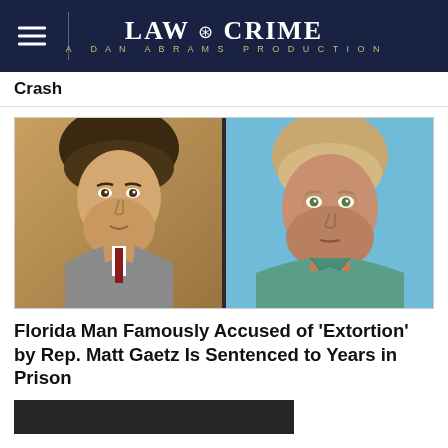LAW & CRIME — A DAN ABRAMS PRODUCTION
Crash
[Figure (photo): Side-by-side photos: left shows a younger man in a gray suit with dark hair speaking; right shows an older man with gray-blond hair in a teal/green checkered shirt against a light blue background]
Florida Man Famously Accused of 'Extortion' by Rep. Matt Gaetz Is Sentenced to Years in Prison
[Figure (photo): Partial bottom image, dark background, cropped]